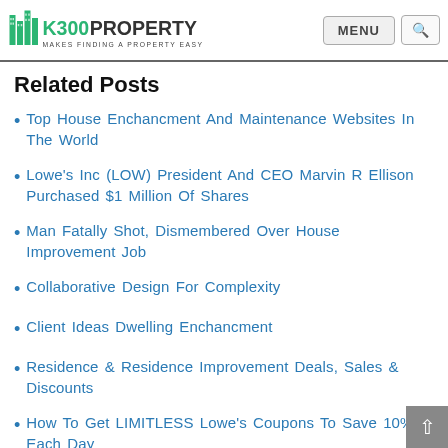K300PROPERTY - MAKES FINDING A PROPERTY EASY
Related Posts
Top House Enchancment And Maintenance Websites In The World
Lowe's Inc (LOW) President And CEO Marvin R Ellison Purchased $1 Million Of Shares
Man Fatally Shot, Dismembered Over House Improvement Job
Collaborative Design For Complexity
Client Ideas Dwelling Enchancment
Residence & Residence Improvement Deals, Sales & Discounts
How To Get LIMITLESS Lowe's Coupons To Save 10% Each Day